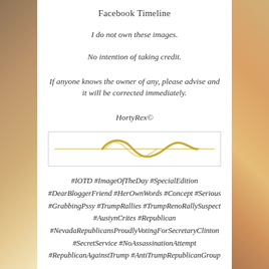Facebook Timeline
I do not own these images.
No intention of taking credit.
If anyone knows the owner of any, please advise and it will be corrected immediately.
HortyRex©
[Figure (illustration): Decorative golden swirl/wave divider line inside a bordered rectangle]
#IOTD #ImageOfTheDay #SpecialEdition #DearBloggerFriend #HerOwnWords #Concept #Serious #GrabbingPssy #TrumpRallies #TrumpRenoRallySuspect #AustynCrites #Republican #NevadaRepublicansProudlyVotingForSecretaryClinton #SecretService #NoAssassinationAttempt #RepublicanAgainstTrump #AntiTrumpRepublicanGroup